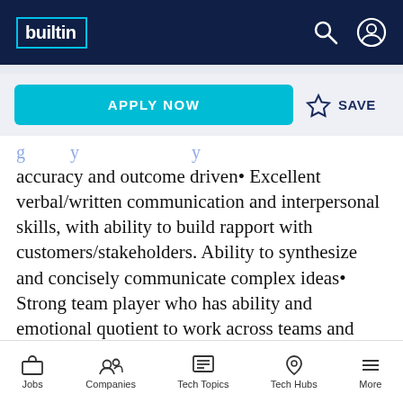builtin
APPLY NOW
SAVE
accuracy and outcome driven• Excellent verbal/written communication and interpersonal skills, with ability to build rapport with customers/stakeholders. Ability to synthesize and concisely communicate complex ideas• Strong team player who has ability and emotional quotient to work across teams and organizations to make successful products• Ability to understand the big
Jobs   Companies   Tech Topics   Tech Hubs   More